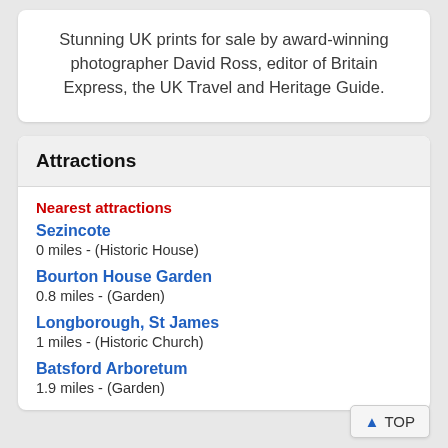Stunning UK prints for sale by award-winning photographer David Ross, editor of Britain Express, the UK Travel and Heritage Guide.
Attractions
Nearest attractions
Sezincote
0 miles - (Historic House)
Bourton House Garden
0.8 miles - (Garden)
Longborough, St James
1 miles - (Historic Church)
Batsford Arboretum
1.9 miles - (Garden)